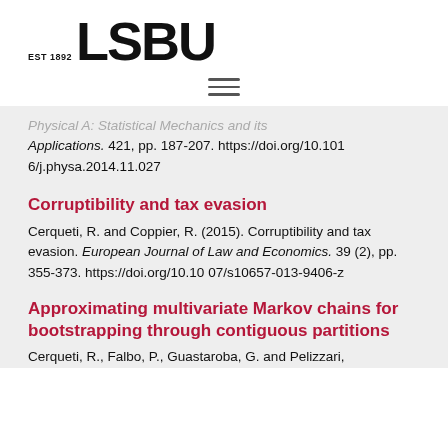[Figure (logo): LSBU logo with EST 1892 text and large bold LSBU lettering]
(hamburger menu icon)
Physical A: Statistical Mechanics and its Applications. 421, pp. 187-207. https://doi.org/10.1016/j.physa.2014.11.027
Corruptibility and tax evasion
Cerqueti, R. and Coppier, R. (2015). Corruptibility and tax evasion. European Journal of Law and Economics. 39 (2), pp. 355-373. https://doi.org/10.1007/s10657-013-9406-z
Approximating multivariate Markov chains for bootstrapping through contiguous partitions
Cerqueti, R., Falbo, P., Guastaroba, G. and Pelizzari,